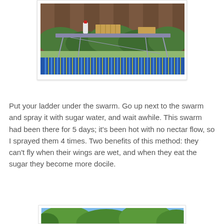[Figure (photo): Outdoor backyard scene showing a folding table with beekeeping supplies including a bottle and wooden frames, in front of a wooden fence with green hedges. Blue and yellow corrugated hose/tubing visible in foreground.]
Put your ladder under the swarm. Go up next to the swarm and spray it with sugar water, and wait awhile. This swarm had been there for 5 days; it's been hot with no nectar flow, so I sprayed them 4 times. Two benefits of this method: they can't fly when their wings are wet, and when they eat the sugar they become more docile.
[Figure (photo): Outdoor scene showing tree branches with green foliage against a blue sky, likely containing a bee swarm.]